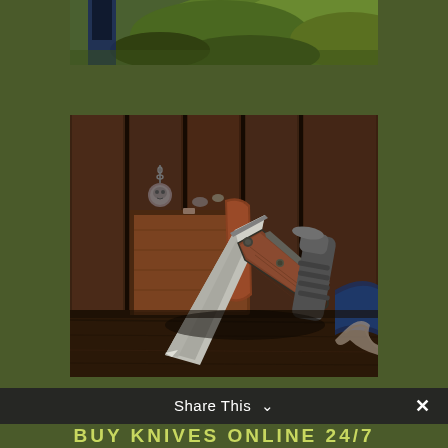[Figure (photo): Top partial photo showing a person in jeans outdoors with green foliage background]
[Figure (photo): Folding pocket knife with brown wood handle leaning against a wooden box, with a flashlight and rope in the background on a wooden surface]
Share This ∨
BUY KNIVES ONLINE 24/7